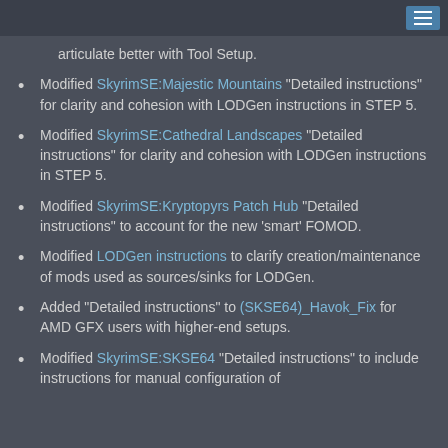articulate better with Tool Setup.
Modified SkyrimSE:Majestic Mountains "Detailed instructions" for clarity and cohesion with LODGen instructions in STEP 5.
Modified SkyrimSE:Cathedral Landscapes "Detailed instructions" for clarity and cohesion with LODGen instructions in STEP 5.
Modified SkyrimSE:Kryptopyrs Patch Hub "Detailed instructions" to account for the new 'smart' FOMOD.
Modified LODGen instructions to clarify creation/maintenance of mods used as sources/sinks for LODGen.
Added "Detailed instructions" to (SKSE64)_Havok_Fix for AMD GFX users with higher-end setups.
Modified SkyrimSE:SKSE64 "Detailed instructions" to include instructions for manual configuration of